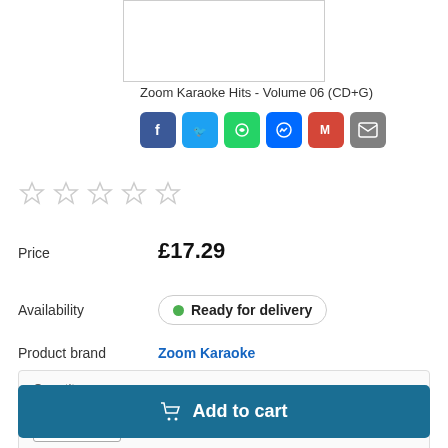[Figure (photo): Product image box (white rectangle with border)]
Zoom Karaoke Hits - Volume 06 (CD+G)
[Figure (infographic): Social sharing icons: Facebook, Twitter, WhatsApp, Messenger, Gmail, Email]
[Figure (infographic): Five empty star rating icons]
Price  £17.29
Availability  Ready for delivery
Product brand  Zoom Karaoke
Quantity: 1
Add to cart